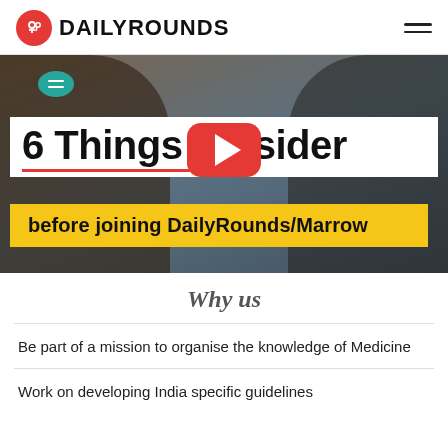DAILYROUNDS
[Figure (screenshot): Video thumbnail showing two people at a table with text overlay '6 Things to Consider before joining DailyRounds/Marrow' and a YouTube play button]
Why us
Be part of a mission to organise the knowledge of Medicine
Work on developing India specific guidelines